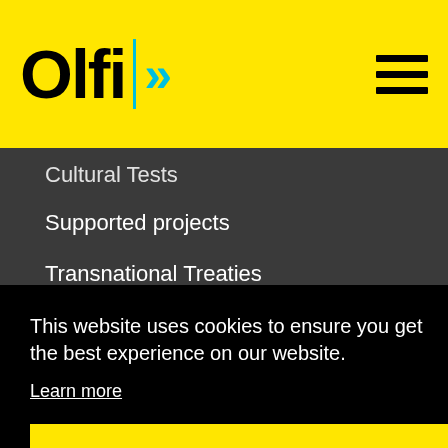Olfi >> [logo with hamburger menu]
Cultural Tests
Supported projects
Transnational Treaties
Country regulations
Compare & track programmes
This website uses cookies to ensure you get the best experience on our website.
Learn more
Got it!